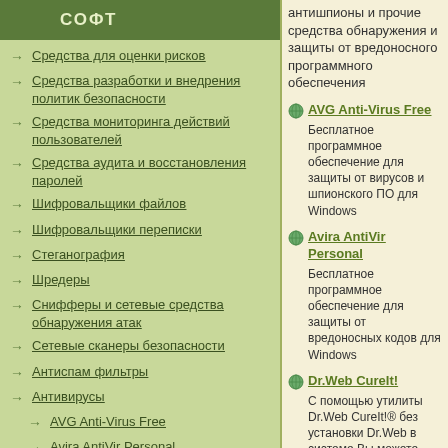СОФТ
Средства для оценки рисков
Средства разработки и внедрения политик безопасности
Средства мониторинга действий пользователей
Средства аудита и восстановления паролей
Шифровальщики файлов
Шифровальщики переписки
Стеганография
Шредеры
Снифферы и сетевые средства обнаружения атак
Сетевые сканеры безопасности
Антиспам фильтры
Антивирусы
AVG Anti-Virus Free
Avira AntiVir Personal
Dr.Web CureIt!
антишпионы и прочие средства обнаружения и защиты от вредоносного программного обеспечения
AVG Anti-Virus Free
Бесплатное программное обеспечение для защиты от вирусов и шпионского ПО для Windows
Avira AntiVir Personal
Бесплатное программное обеспечение для защиты от вредоносных кодов для Windows
Dr.Web CureIt!
С помощью утилиты Dr.Web CureIt!® без установки Dr.Web в системе Вы можете